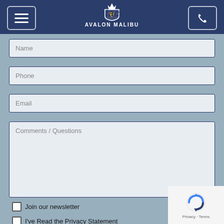Contact Us — Avalon Malibu
Name
Phone
Email
Comments / Questions
Join our newsletter
I've Read the Privacy Statement